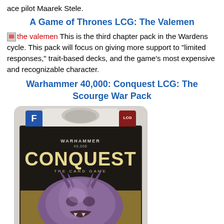ace pilot Maarek Stele.
A Game of Thrones LCG: The Valemen
the valemen This is the third chapter pack in the Wardens cycle. This pack will focus on giving more support to "limited responses," trait-based decks, and the game's most expensive and recognizable character.
Warhammer 40,000: Conquest LCG: The Scourge War Pack
[Figure (photo): Product packaging for Warhammer 40,000: Conquest LCG The Scourge War Pack card game, showing the game box with a monstrous purple creature on dark background with the CONQUEST logo.]